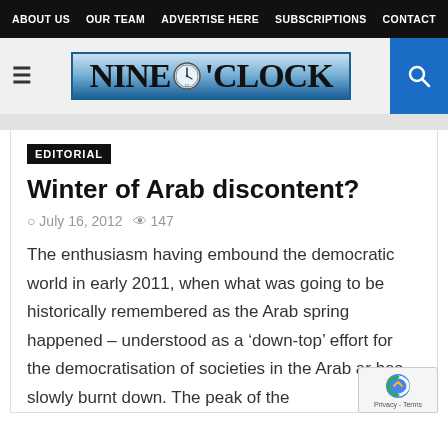ABOUT US  OUR TEAM  ADVERTISE HERE  SUBSCRIPTIONS  CONTACT
[Figure (logo): Nine O'Clock newspaper logo with clock graphic, blue banner background]
EDITORIAL
Winter of Arab discontent?
July 16, 2012  147
The enthusiasm having embound the democratic world in early 2011, when what was going to be historically remembered as the Arab spring happened – understood as a ‘down-top’ effort for the democratisation of societies in the Arab ar has slowly burnt down. The peak of the